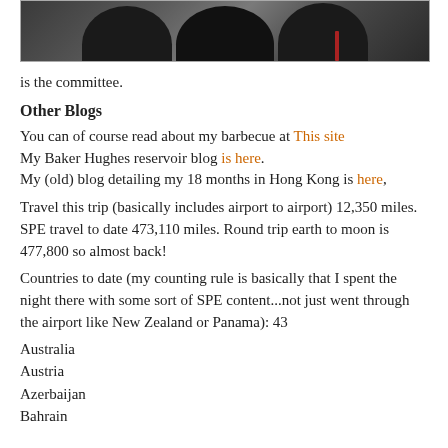[Figure (photo): Partial photo showing people (heads/shoulders) in formal attire, cropped at top of page]
is the committee.
Other Blogs
You can of course read about my barbecue at This site
My Baker Hughes reservoir blog is here.
My (old) blog detailing my 18 months in Hong Kong is here,
Travel this trip (basically includes airport to airport) 12,350 miles. SPE travel to date 473,110 miles. Round trip earth to moon is 477,800 so almost back!
Countries to date (my counting rule is basically that I spent the night there with some sort of SPE content...not just went through the airport like New Zealand or Panama): 43
Australia
Austria
Azerbaijan
Bahrain